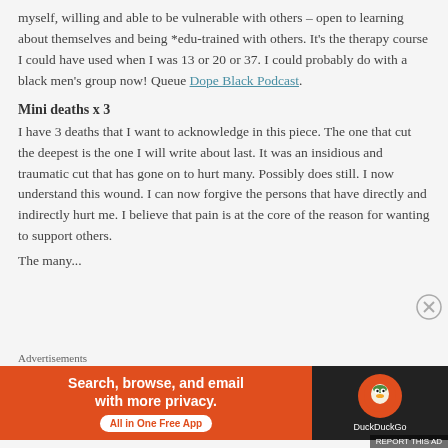myself, willing and able to be vulnerable with others – open to learning about themselves and being *edu-trained with others. It's the therapy course I could have used when I was 13 or 20 or 37. I could probably do with a black men's group now! Queue Dope Black Podcast.
Mini deaths x 3
I have 3 deaths that I want to acknowledge in this piece. The one that cut the deepest is the one I will write about last. It was an insidious and traumatic cut that has gone on to hurt many. Possibly does still. I now understand this wound. I can now forgive the persons that have directly and indirectly hurt me. I believe that pain is at the core of the reason for wanting to support others.
The many...
Advertisements
[Figure (infographic): DuckDuckGo advertisement banner: orange left panel with text 'Search, browse, and email with more privacy. All in One Free App' and white button, dark right panel with DuckDuckGo duck logo and 'DuckDuckGo' label.]